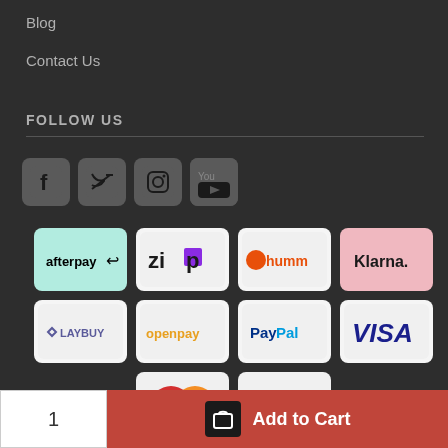Blog
Contact Us
FOLLOW US
[Figure (other): Social media icons: Facebook, Twitter, Instagram, YouTube]
[Figure (other): Payment method logos: afterpay, zip, humm, Klarna, LAYBUY, openpay, PayPal, VISA, MasterCard, AMERICAN EXPRESS]
1
Add to Cart